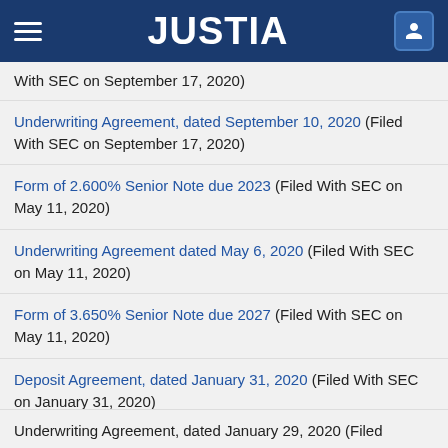JUSTIA
With SEC on September 17, 2020)
Underwriting Agreement, dated September 10, 2020 (Filed With SEC on September 17, 2020)
Form of 2.600% Senior Note due 2023 (Filed With SEC on May 11, 2020)
Underwriting Agreement dated May 6, 2020 (Filed With SEC on May 11, 2020)
Form of 3.650% Senior Note due 2027 (Filed With SEC on May 11, 2020)
Deposit Agreement, dated January 31, 2020 (Filed With SEC on January 31, 2020)
Underwriting Agreement, dated January 29, 2020 (Filed...